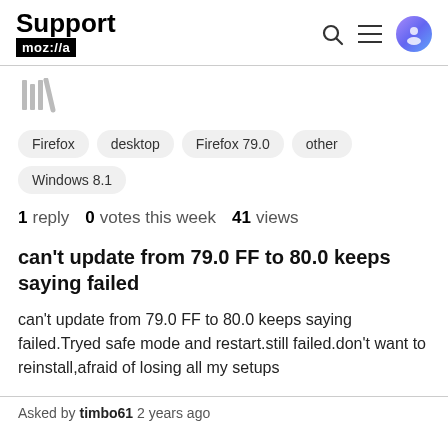Support mozilla// [search] [menu] [avatar]
[Figure (other): Library/bookmark stack icon in gray]
Firefox
desktop
Firefox 79.0
other
Windows 8.1
1 reply  0 votes this week  41 views
can't update from 79.0 FF to 80.0 keeps saying failed
can't update from 79.0 FF to 80.0 keeps saying failed.Tryed safe mode and restart.still failed.don't want to reinstall,afraid of losing all my setups
Asked by timbo61 2 years ago